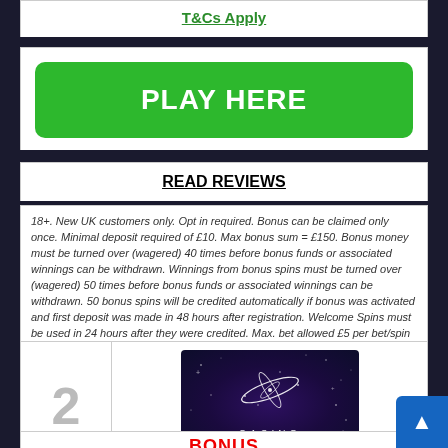T&Cs Apply
PLAY HERE
READ REVIEWS
18+. New UK customers only. Opt in required. Bonus can be claimed only once. Minimal deposit required of £10. Max bonus sum = £150. Bonus money must be turned over (wagered) 40 times before bonus funds or associated winnings can be withdrawn. Winnings from bonus spins must be turned over (wagered) 50 times before bonus funds or associated winnings can be withdrawn. 50 bonus spins will be credited automatically if bonus was activated and first deposit was made in 48 hours after registration. Welcome Spins must be used in 24 hours after they were credited. Max. bet allowed £5 per bet/spin when wagering with bonus money. General T&C and General Promotion Terms apply. Play responsibly. This bonus is available till 31.01.23.
2
[Figure (logo): Genesis Casino logo with spiral galaxy graphic on dark purple/blue background]
BONUS
100% UP TO £100 + 300 FREE SPINS ON STARBURST